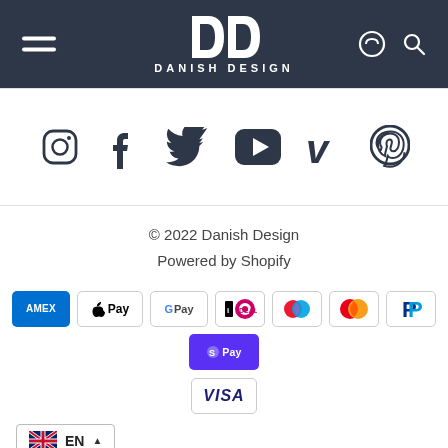Danish Design — navigation header with hamburger menu, DD logo, basket and search icons
[Figure (logo): Danish Design logo: two D letters in white on dark background with DANISH DESIGN text]
[Figure (infographic): Social media icons row: Instagram, Facebook, Twitter, YouTube, Vimeo, Pinterest]
© 2022 Danish Design
Powered by Shopify
[Figure (infographic): Payment method badges: AMEX, Apple Pay, Google Pay, iDEAL, Maestro, Mastercard, PayPal, Shop Pay, Visa]
[Figure (infographic): Language selector showing UK flag with EN label]